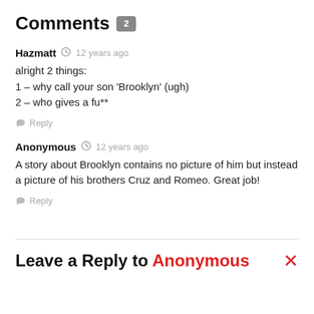Comments 2
Hazmatt  12 years ago
alright 2 things:
1 – why call your son 'Brooklyn' (ugh)
2 – who gives a fu**
Reply
Anonymous  12 years ago
A story about Brooklyn contains no picture of him but instead a picture of his brothers Cruz and Romeo. Great job!
Reply
Leave a Reply to Anonymous